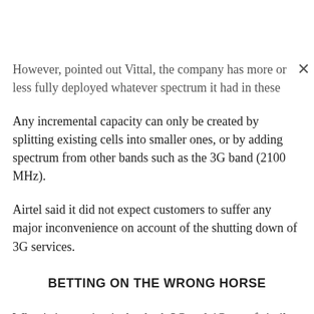However, pointed out Vittal, the company has more or less fully deployed whatever spectrum it had in these bands.
Any incremental capacity can only be created by splitting existing cells into smaller ones, or by adding spectrum from other bands such as the 3G band (2100 MHz).
Airtel said it did not expect customers to suffer any major inconvenience on account of the shutting down of 3G services.
BETTING ON THE WRONG HORSE
What is interesting is that both 3G and 4G are of similar age in India.